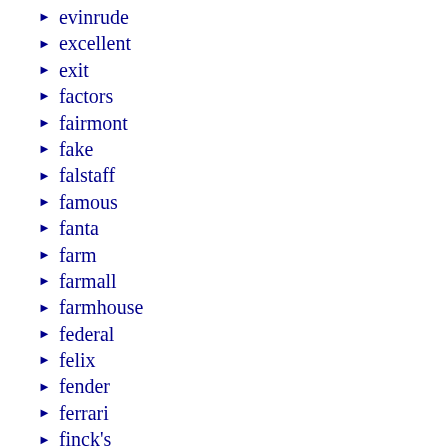evinrude
excellent
exit
factors
fairmont
fake
falstaff
famous
fanta
farm
farmall
farmhouse
federal
felix
fender
ferrari
finck's
finding
firestone
first
fish
fisogni